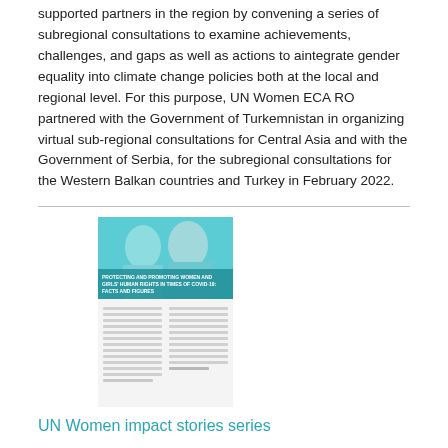supported partners in the region by convening a series of subregional consultations to examine achievements, challenges, and gaps as well as actions to aintegrate gender equality into climate change policies both at the local and regional level. For this purpose, UN Women ECA RO partnered with the Government of Turkemnistan in organizing virtual sub-regional consultations for Central Asia and with the Government of Serbia, for the subregional consultations for the Western Balkan countries and Turkey in February 2022.
[Figure (other): Thumbnail image of a UN Women impact stories series publication, showing two women on the cover with a teal/blue background and text columns below.]
UN Women impact stories series
Date: Monday, 5 October 2020
This series, updated quarterly, illustrates the human impact of UN Women's work across the world, highlighting the partnerships that make this work possible. These stories share how we and our many partners are striding forward to realize a better world for women and girls